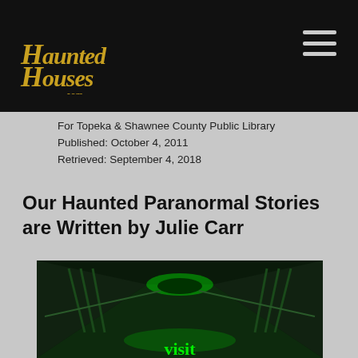[Figure (logo): HauntedHouses.com logo in gothic/horror style font on black background]
For Topeka & Shawnee County Public Library
Published: October 4, 2011
Retrieved: September 4, 2018
Our Haunted Paranormal Stories are Written by Julie Carr
[Figure (photo): Green-tinted haunted hallway/corridor with arched ceiling, dark atmospheric prison or institutional building interior, with text 'visit' visible at bottom in glowing green letters]